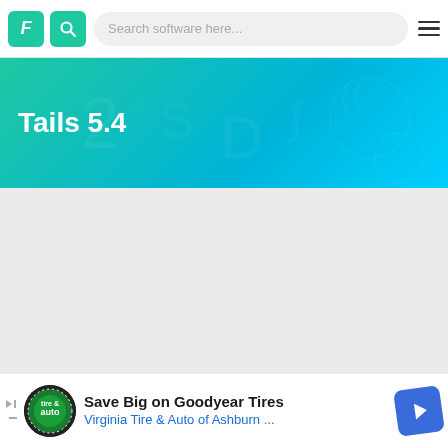[Figure (screenshot): Website navigation bar with Filmora logo (F icon), search icon, search bar saying 'Search software here...', and hamburger menu]
Tails 5.4
[Figure (other): Gray content area placeholder]
[Figure (other): Advertisement banner: Save Big on Goodyear Tires - Virginia Tire & Auto of Ashburn ... with tire & auto logo and blue navigation icon]